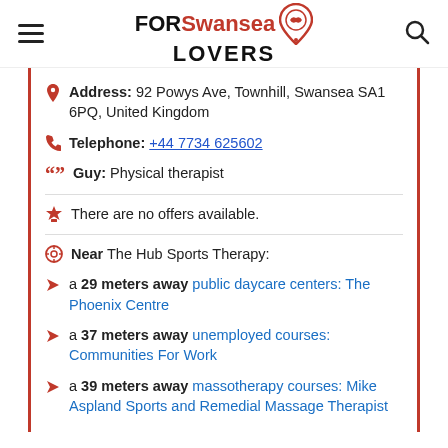FOR Swansea LOVERS
Address: 92 Powys Ave, Townhill, Swansea SA1 6PQ, United Kingdom
Telephone: +44 7734 625602
Guy: Physical therapist
There are no offers available.
Near The Hub Sports Therapy:
a 29 meters away public daycare centers: The Phoenix Centre
a 37 meters away unemployed courses: Communities For Work
a 39 meters away massotherapy courses: Mike Aspland Sports and Remedial Massage Therapist